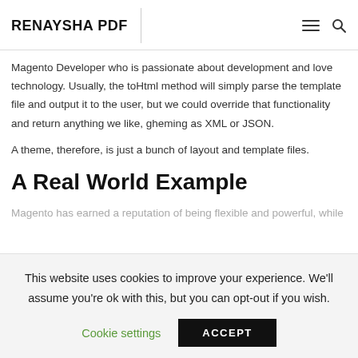RENAYSHA PDF
Magento Developer who is passionate about development and love technology. Usually, the toHtml method will simply parse the template file and output it to the user, but we could override that functionality and return anything we like, gheming as XML or JSON.
A theme, therefore, is just a bunch of layout and template files.
A Real World Example
Magento has earned a reputation of being flexible and powerful, while
This website uses cookies to improve your experience. We'll assume you're ok with this, but you can opt-out if you wish.
Cookie settings    ACCEPT